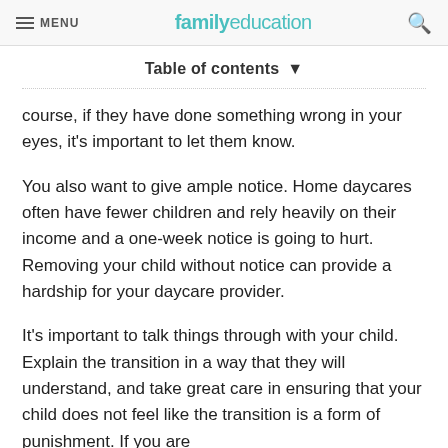MENU | familyeducation
Table of contents ▼
course, if they have done something wrong in your eyes, it's important to let them know.
You also want to give ample notice. Home daycares often have fewer children and rely heavily on their income and a one-week notice is going to hurt. Removing your child without notice can provide a hardship for your daycare provider.
It's important to talk things through with your child. Explain the transition in a way that they will understand, and take great care in ensuring that your child does not feel like the transition is a form of punishment. If you are